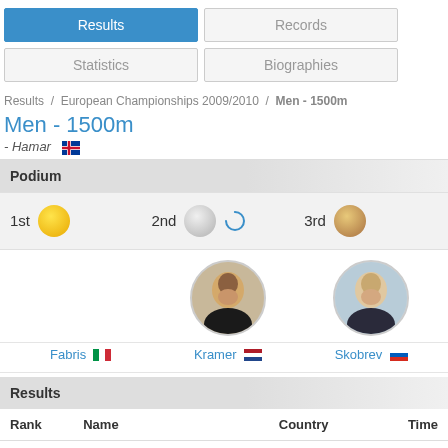Results | Records | Statistics | Biographies
Results / European Championships 2009/2010 / Men - 1500m
Men - 1500m
- Hamar
Podium
1st  2nd  3rd
[Figure (photo): Photos of Fabris (Italy, 1st), Kramer (Netherlands, 2nd), Skobrev (Russia, 3rd)]
Fabris [Italy flag]   Kramer [Netherlands flag]   Skobrev [Russia flag]
Results
| Rank | Name | Country | Time |
| --- | --- | --- | --- |